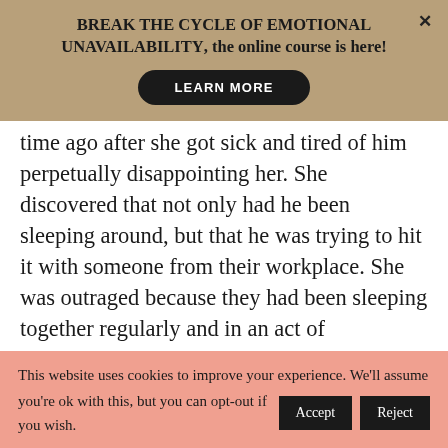BREAK THE CYCLE OF EMOTIONAL UNAVAILABILITY, the online course is here!
LEARN MORE
time ago after she got sick and tired of him perpetually disappointing her. She discovered that not only had he been sleeping around, but that he was trying to hit it with someone from their workplace. She was outraged because they had been sleeping together regularly and in an act of
This website uses cookies to improve your experience. We'll assume you're ok with this, but you can opt-out if you wish.
Accept
Reject
Read More